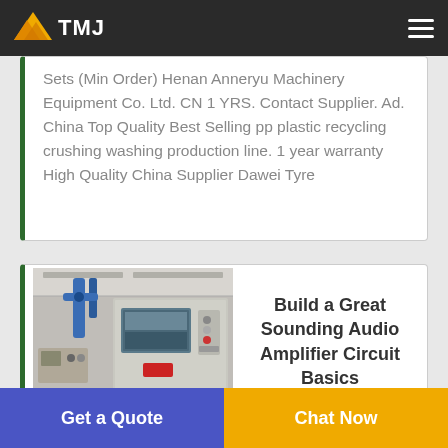TMJ
Sets (Min Order) Henan Anneryu Machinery Equipment Co. Ltd. CN 1 YRS. Contact Supplier. Ad. China Top Quality Best Selling pp plastic recycling crushing washing production line. 1 year warranty High Quality China Supplier Dawei Tyre
[Figure (photo): Industrial machinery/production line equipment in a factory setting, with blue pipes and a large grey control panel with buttons and screens]
Build a Great Sounding Audio Amplifier Circuit Basics
Get a Quote  Chat Now